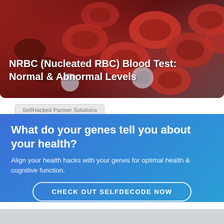[Figure (illustration): Medical illustration of red blood cells (erythrocytes) and white blood cells floating, with deep red and brownish tones suggesting a blood stream environment.]
NRBC (Nucleated RBC) Blood Test: Normal & Abnormal Levels
SelfHacked Partner Solutions
What do your genes tell you about your health?
Align your health hacks with your genes for optimal health & cognitive function.
CHECK OUT SELFDECODE NOW